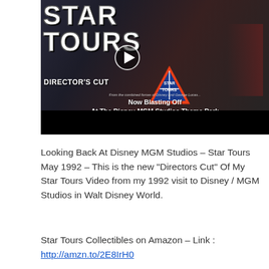[Figure (screenshot): YouTube video thumbnail for 'Star Tours Director's Cut' showing Star Wars themed imagery with the text 'STAR TOURS', 'DIRECTOR'S CUT', Star Tours logo, 'Now Blasting Off At The Disney-MGM Studios Theme Park', Walt Disney World logo, and a play button overlay. Black letterbox bar at the bottom.]
Looking Back At Disney MGM Studios – Star Tours May 1992 – This is the new "Directors Cut" Of My Star Tours Video from my 1992 visit to Disney / MGM Studios in Walt Disney World.
Star Tours Collectibles on Amazon – Link :
http://amzn.to/2E8IrH0